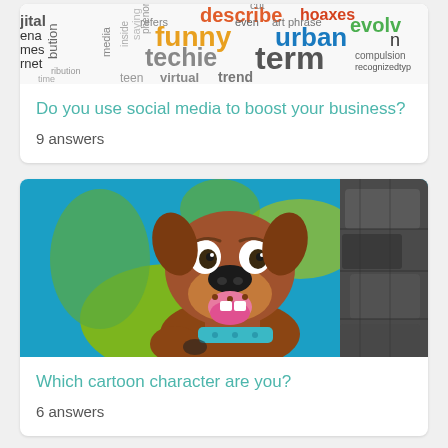[Figure (photo): Word cloud image with colorful internet/social media related words like 'funny', 'urban', 'techie', 'term', 'trend', 'evolve', 'teen', 'virtual', etc. partially cropped at top]
Do you use social media to boost your business?
9 answers
[Figure (photo): Photo of Scooby-Doo cartoon character illustration on a colorful teal and yellow background, with stone/rock texture on the right side]
Which cartoon character are you?
6 answers